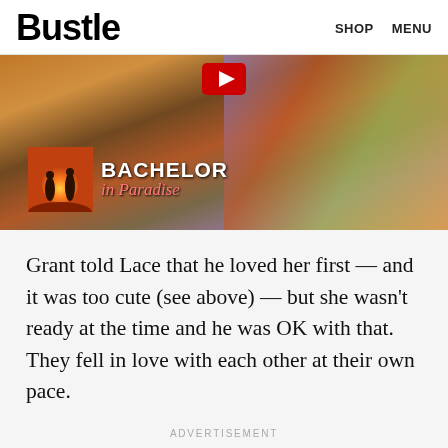Bustle   SHOP   MENU
[Figure (screenshot): Bachelor in Paradise video thumbnail showing two silhouettes against a sunset, with the Bachelor in Paradise logo overlay and a red play button at top center]
Grant told Lace that he loved her first — and it was too cute (see above) — but she wasn't ready at the time and he was OK with that. They fell in love with each other at their own pace.
ADVERTISEMENT